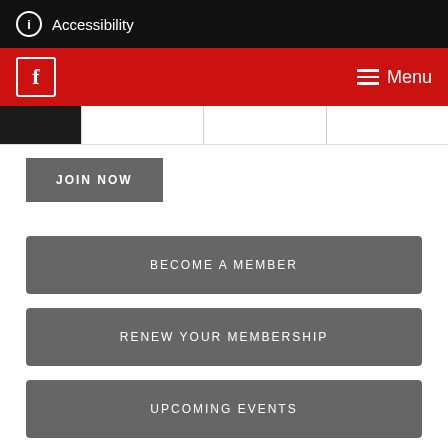Accessibility
Menu
JOIN NOW
BECOME A MEMBER
RENEW YOUR MEMBERSHIP
UPCOMING EVENTS
Make an Enquiry